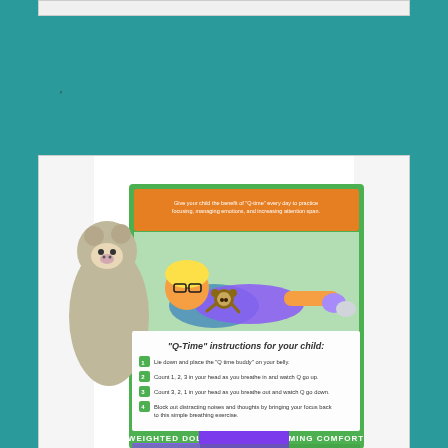[Figure (photo): Top narrow white image bar strip at the top of the page]
'
[Figure (photo): Product photo of a Q-Time weighted monkey plush doll with its green and purple retail box. The box shows a cartoon girl lying on a pillow with a monkey plush on her belly. The box reads: 'Give your child the benefit of Q-time every day to practice focusing, managing emotions, and increasing attention span.' It also shows Q-Time instructions for your child: 1. Lie down and place the Q time buddy on your belly. 2. Count 1, 2, 3 in your head as you breathe in and watch Q go up. 3. Count 3, 2, 1 in your head as you breathe out and watch Q go down. 4. Block out distracting noises and thoughts by bringing your focus back to this simple breathing exercise. Bottom of box reads: WEIGHTED DOLL FOR EXTRA CALMING COMFORT. EQ logo shown at bottom left.]